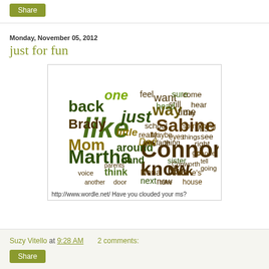Share
Monday, November 05, 2012
just for fun
[Figure (infographic): Word cloud featuring names and words from a manuscript. Prominent words include: like, Connor, Martha, know, Sabine, back, Brady, Mom, just, way, one, little, around, hand, think, Nick, Nona, next, sister, Mrs, right, go, now, Sabine's, Cupworth, house, phone, feel, want, sure, come, head, still, time, school, really, get, Maybe, face, thing, eyes, things, Dad, and many smaller words. Colors are olive green, dark brown/black, and gold/tan.]
http://www.wordle.net/ Have you clouded your ms?
Suzy Vitello at 9:28 AM     2 comments:
Share